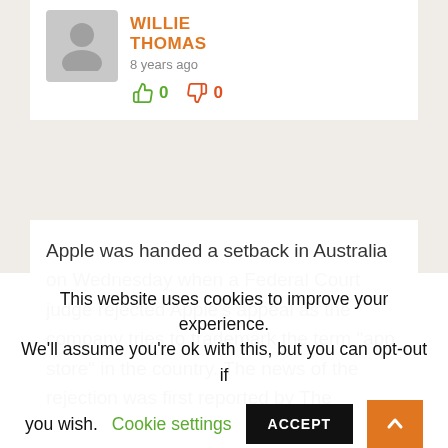[Figure (illustration): User avatar placeholder (grey silhouette of a person on grey background)]
WILLIE THOMAS
8 years ago
👍 0   👎 0
Apple was handed a setback in Australia on Wednesday when a Federal Court judge rejected Apple's appeal as the company tries to trademark the term "app store" in the country. The news of the rejection was first reported by The
This website uses cookies to improve your experience. We'll assume you're ok with this, but you can opt-out if you wish.
Cookie settings
ACCEPT